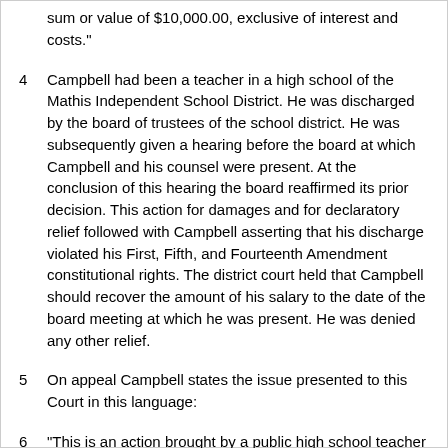sum or value of $10,000.00, exclusive of interest and costs."
Campbell had been a teacher in a high school of the Mathis Independent School District. He was discharged by the board of trustees of the school district. He was subsequently given a hearing before the board at which Campbell and his counsel were present. At the conclusion of this hearing the board reaffirmed its prior decision. This action for damages and for declaratory relief followed with Campbell asserting that his discharge violated his First, Fifth, and Fourteenth Amendment constitutional rights. The district court held that Campbell should recover the amount of his salary to the date of the board meeting at which he was present. He was denied any other relief.
On appeal Campbell states the issue presented to this Court in this language:
"This is an action brought by a public high school teacher under 42 U.S.C. Sec. 1983, alleging that he was dismissed during the term of his contract in violation of the First Amendment and without procedural due process. Following an extensive trial, Judge Owen D. Cox held that the discharge did not violate the First Amendment; that the failure to provide a predetermination hearing violated due process;